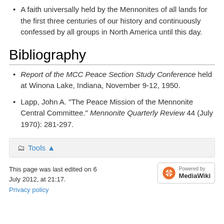A faith universally held by the Mennonites of all lands for the first three centuries of our history and continuously confessed by all groups in North America until this day.
Bibliography
Report of the MCC Peace Section Study Conference held at Winona Lake, Indiana, November 9-12, 1950.
Lapp, John A. "The Peace Mission of the Mennonite Central Committee." Mennonite Quarterly Review 44 (July 1970): 281-297.
Tools ▲
This page was last edited on 6 July 2012, at 21:17.
Privacy policy